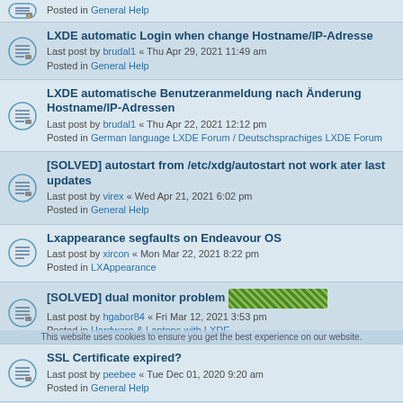Posted in General Help
LXDE automatic Login when change Hostname/IP-Adresse
Last post by brudal1 « Thu Apr 29, 2021 11:49 am
Posted in General Help
LXDE automatische Benutzeranmeldung nach Änderung Hostname/IP-Adressen
Last post by brudal1 « Thu Apr 22, 2021 12:12 pm
Posted in German language LXDE Forum / Deutschsprachiges LXDE Forum
[SOLVED] autostart from /etc/xdg/autostart not work ater last updates
Last post by virex « Wed Apr 21, 2021 6:02 pm
Posted in General Help
Lxappearance segfaults on Endeavour OS
Last post by xircon « Mon Mar 22, 2021 8:22 pm
Posted in LXAppearance
[SOLVED] dual monitor problem
Last post by hgabor84 « Fri Mar 12, 2021 3:53 pm
Posted in Hardware & Laptops with LXDE
SSL Certificate expired?
Last post by peebee « Tue Dec 01, 2020 9:20 am
Posted in General Help
#1085 Some keyboard shortcuts stopped working: Alt+Home, Alt+Up
Last post by drooly « Sun Oct 18, 2020 12:55 pm
Posted in PCManFM
SMSL AUdio DAC – ALSA volume regulator hides